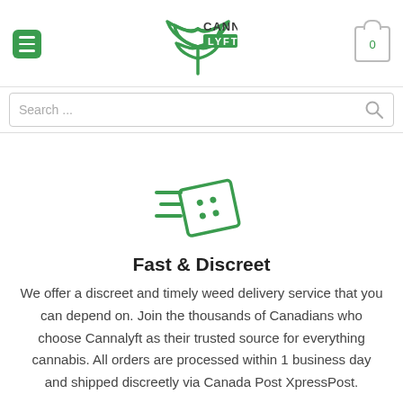CannaLyft - hamburger menu, logo, cart
[Figure (screenshot): CannaLyft logo with green cannabis leaf icon and CANNA LYFT text with green LYFT box]
Search ...
[Figure (illustration): Green line-art icon of a fast-moving package/envelope with speed lines]
Fast & Discreet
We offer a discreet and timely weed delivery service that you can depend on. Join the thousands of Canadians who choose Cannalyft as their trusted source for everything cannabis. All orders are processed within 1 business day and shipped discreetly via Canada Post XpressPost.